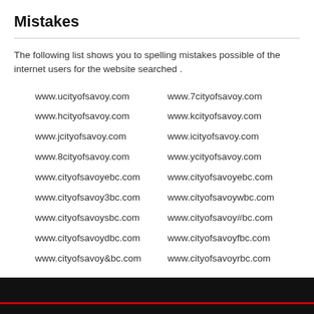Mistakes
The following list shows you to spelling mistakes possible of the internet users for the website searched .
www.ucityofsavoy.com
www.hcityofsavoy.com
www.jcityofsavoy.com
www.8cityofsavoy.com
www.cityofsavoyebc.com
www.cityofsavoy3bc.com
www.cityofsavoysbc.com
www.cityofsavoydbc.com
www.cityofsavoy&bc.com
www.7cityofsavoy.com
www.kcityofsavoy.com
www.icityofsavoy.com
www.ycityofsavoy.com
www.cityofsavoyebc.com
www.cityofsavoywbc.com
www.cityofsavoy#bc.com
www.cityofsavoyfbc.com
www.cityofsavoyrbc.com
▼ Show All Mistakes